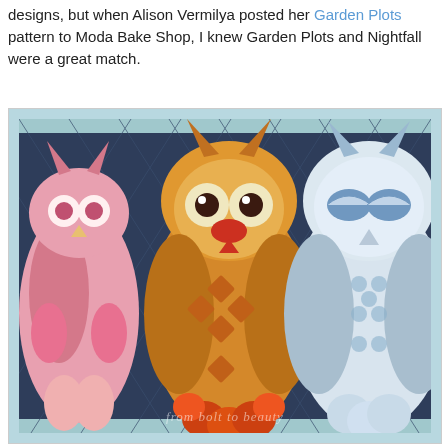designs, but when Alison Vermilya posted her Garden Plots pattern to Moda Bake Shop, I knew Garden Plots and Nightfall were a great match.
[Figure (photo): Close-up photograph of a quilt featuring large owl fabric panels on a dark navy blue quilted background with diagonal chevron/diamond quilting pattern. Three owls are partially visible: a pink owl on the left, a golden/amber owl in the center, and a blue-and-white owl on the right. A watermark reading 'from bolt to beauty' appears at the bottom.]